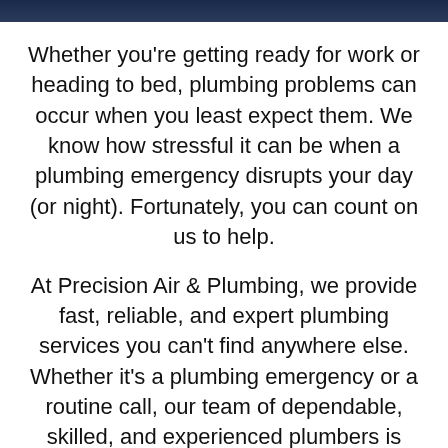Whether you're getting ready for work or heading to bed, plumbing problems can occur when you least expect them. We know how stressful it can be when a plumbing emergency disrupts your day (or night). Fortunately, you can count on us to help.
At Precision Air & Plumbing, we provide fast, reliable, and expert plumbing services you can't find anywhere else. Whether it's a plumbing emergency or a routine call, our team of dependable, skilled, and experienced plumbers is always ready to help.